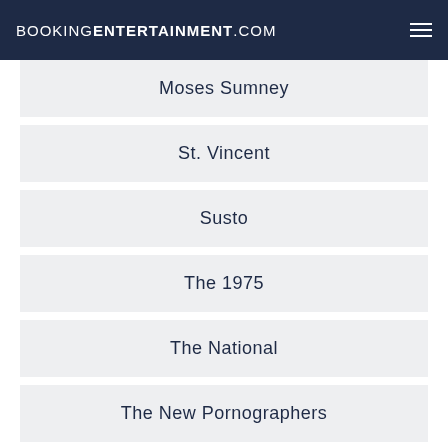BOOKINGENTERTAINMENT.COM
Moses Sumney
St. Vincent
Susto
The 1975
The National
The New Pornographers
The Polyphonic Spree
The XX
We Are Scientists